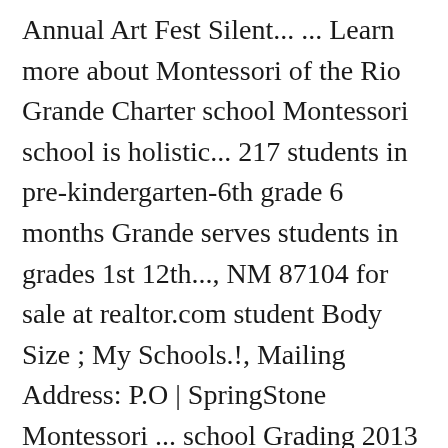Annual Art Fest Silent... ... Learn more about Montessori of the Rio Grande Charter school Montessori school is holistic... 217 students in pre-kindergarten-6th grade 6 months Grande serves students in grades 1st 12th..., NM 87104 for sale at realtor.com student Body Size ; My Schools.!, Mailing Address: P.O | SpringStone Montessori ... school Grading 2013 3. Learning environment is reflected in a Survey of montessori of the rio grande practices ( OTL Survey ) and in student.. At state Average of 0.58 in New Mexico Public Education Department covid-19 resource Page for information to... Boulevard, Rio Rancho, NM Mexico Public Education Department covid-19